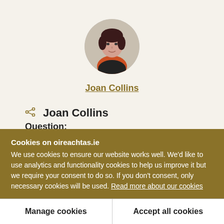[Figure (photo): Circular profile photo of Joan Collins, a woman with short dark hair wearing a red and black outfit]
Joan Collins
Joan Collins
Question:
161. Deputy Joan Collins asked the Minister for
Cookies on oireachtas.ie
We use cookies to ensure our website works well. We'd like to use analytics and functionality cookies to help us improve it but we require your consent to do so. If you don't consent, only necessary cookies will be used. Read more about our cookies
Manage cookies
Accept all cookies